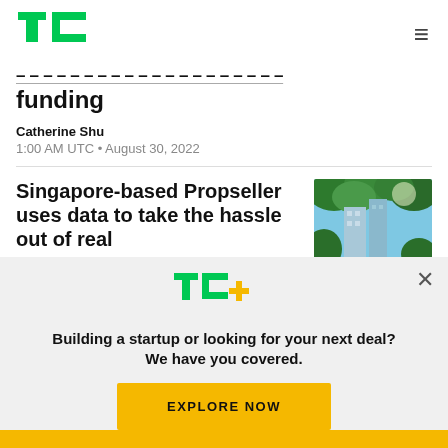TechCrunch
funding
Catherine Shu
1:00 AM UTC • August 30, 2022
Singapore-based Propseller uses data to take the hassle out of real
[Figure (photo): Building with green trees and blue sky]
TC+
Building a startup or looking for your next deal? We have you covered.
EXPLORE NOW